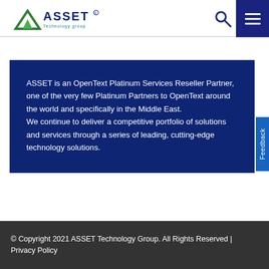[Figure (logo): ASSET Technology Group logo with triangle/mountain icon in green and blue, company name in dark blue]
[Figure (other): Search icon (magnifying glass) in dark blue]
[Figure (other): Hamburger menu icon (three horizontal lines) on dark blue background]
ASSET is an OpenText Platinum Services Reseller Partner, one of the very few Platinum Partners to OpenText around the world and specifically in the Middle East.
We continue to deliver a competitive portfolio of solutions and services through a series of leading, cutting-edge technology solutions.
© Copyright 2021 ASSET Technology Group. All Rights Reserved  |  Privacy Policy